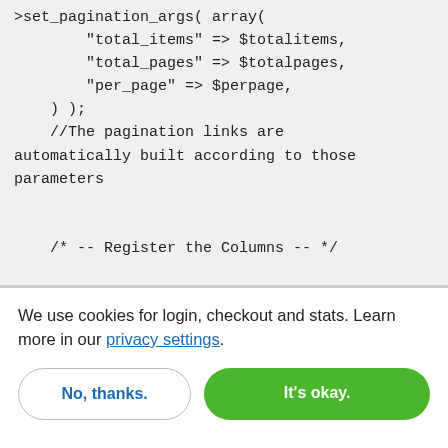[Figure (screenshot): Code block showing PHP pagination code with set_pagination_args function call and a comment about registering columns]
We use cookies for login, checkout and stats. Learn more in our privacy settings.
No, thanks.
It's okay.